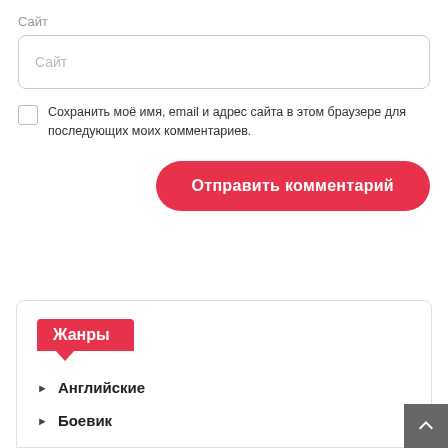Сайт
[Figure (screenshot): Text input field with placeholder text 'Сайт']
Сохранить моё имя, email и адрес сайта в этом браузере для последующих моих комментариев.
[Figure (screenshot): Red rounded button labeled 'Отправить комментарий']
Жанры
Английские
Боевик